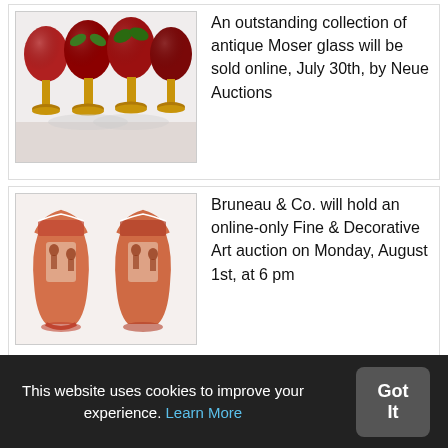[Figure (photo): Photo of antique Moser glass goblets with red bowls, green enamel decoration, and gilded stems]
An outstanding collection of antique Moser glass will be sold online, July 30th, by Neue Auctions
[Figure (photo): Photo of a pair of Chinese iron-red and white porcelain vases with figural decoration]
Bruneau & Co. will hold an online-only Fine & Decorative Art auction on Monday, August 1st, at 6 pm
This website uses cookies to improve your experience. Learn More
Got It